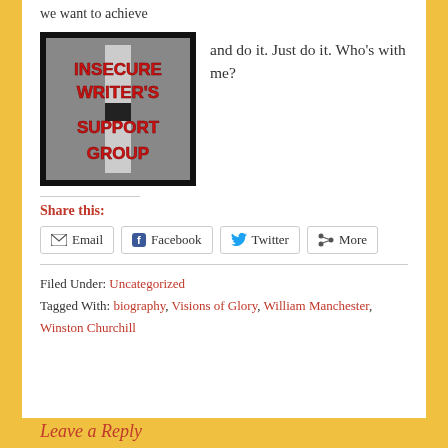we want to achieve
[Figure (photo): Image of 'Insecure Writer's Support Group' sign with lighthouse in background, red text on grey background with black border]
and do it. Just do it. Who's with me?
Share this:
Email | Facebook | Twitter | More
Filed Under: Uncategorized
Tagged With: biography, Visions of Glory, William Manchester, Winston Churchill
Leave a Reply